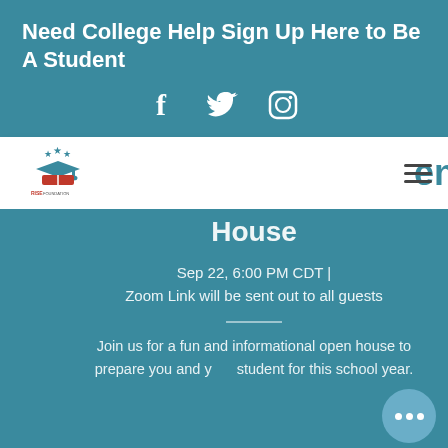Need College Help Sign Up Here to Be A Student
[Figure (illustration): Social media icons: Facebook, Twitter, Instagram in white on teal background]
[Figure (logo): RISE Foundation logo with graduation cap and stars]
en House
Sep 22, 6:00 PM CDT  |  Zoom Link will be sent out to all guests
Join us for a fun and informational open house to prepare you and your student for this school year.